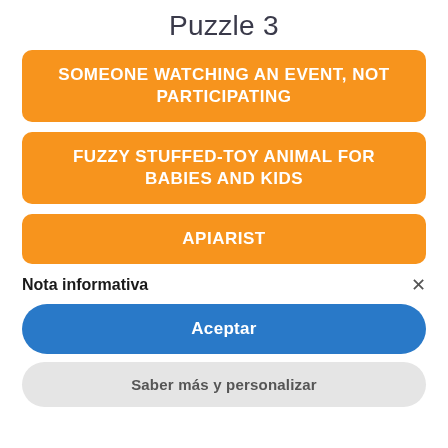Puzzle 3
SOMEONE WATCHING AN EVENT, NOT PARTICIPATING
FUZZY STUFFED-TOY ANIMAL FOR BABIES AND KIDS
APIARIST
Nota informativa
Aceptar
Saber más y personalizar